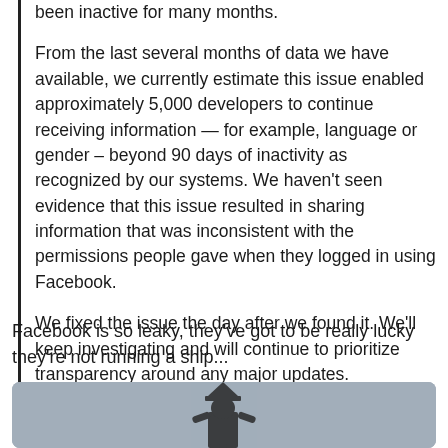been inactive for many months.
From the last several months of data we have available, we currently estimate this issue enabled approximately 5,000 developers to continue receiving information — for example, language or gender – beyond 90 days of inactivity as recognized by our systems. We haven't seen evidence that this issue resulted in sharing information that was inconsistent with the permissions people gave when they logged in using Facebook.
We fixed the issue the day after we found it. We'll keep investigating and will continue to prioritize transparency around any major updates.
Facebook is so leaky, they've got to be really lucky they're not running a ship...
[Figure (photo): A figure in a pirate hat silhouetted against a grey sky, bottom portion of image visible]